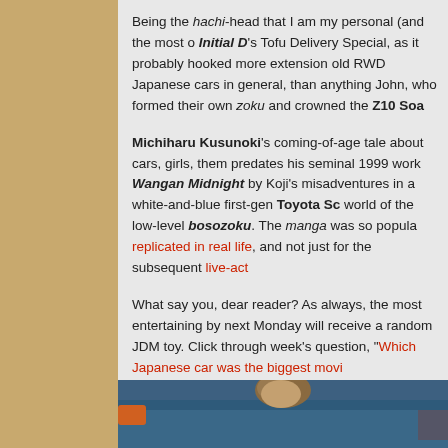Being the hachi-head that I am my personal (and the most o... Initial D's Tofu Delivery Special, as it probably hooked more extension old RWD Japanese cars in general, than anything John, who formed their own zoku and crowned the Z10 Soa...
Michiharu Kusunoki's coming-of-age tale about cars, girls, them predates his seminal 1999 work Wangan Midnight by Koji's misadventures in a white-and-blue first-gen Toyota Sc... world of the low-level bosozoku. The manga was so popula... replicated in real life, and not just for the subsequent live-act...
What say you, dear reader? As always, the most entertaining by next Monday will receive a random JDM toy. Click through week's question, "Which Japanese car was the biggest movi...
[Figure (photo): Photo strip showing a person with curly/wavy hair in front of a blue car, partially visible at bottom of page]